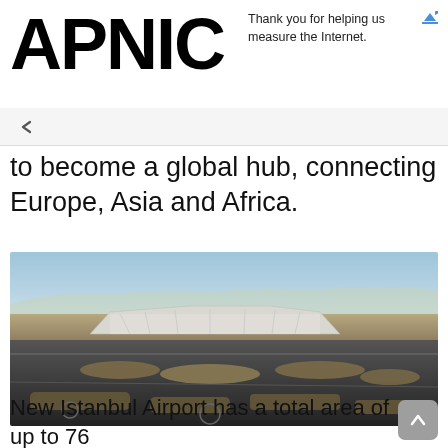APNIC
Thank you for helping us measure the Internet.
to become a global hub, connecting Europe, Asia and Africa.
[Figure (photo): Aerial photograph of New Istanbul Airport showing terminal building, runways, taxiways and surrounding landscape]
New Istanbul Airport has a total area of up to 76